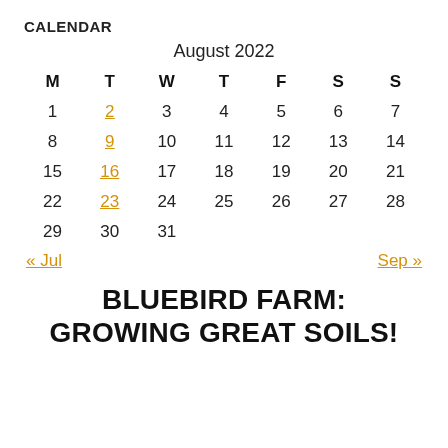CALENDAR
| M | T | W | T | F | S | S |
| --- | --- | --- | --- | --- | --- | --- |
| 1 | 2 | 3 | 4 | 5 | 6 | 7 |
| 8 | 9 | 10 | 11 | 12 | 13 | 14 |
| 15 | 16 | 17 | 18 | 19 | 20 | 21 |
| 22 | 23 | 24 | 25 | 26 | 27 | 28 |
| 29 | 30 | 31 |  |  |  |  |
« Jul    Sep »
BLUEBIRD FARM: GROWING GREAT SOILS!